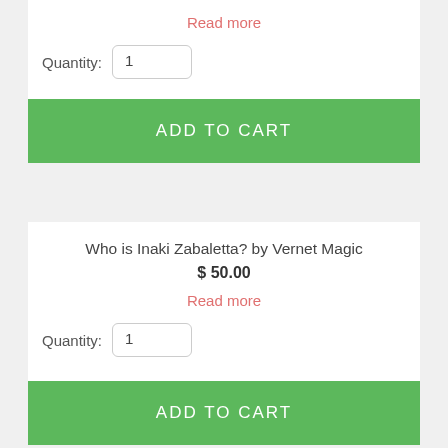Read more
Quantity: 1
ADD TO CART
Who is Inaki Zabaletta? by Vernet Magic
$ 50.00
Read more
Quantity: 1
ADD TO CART